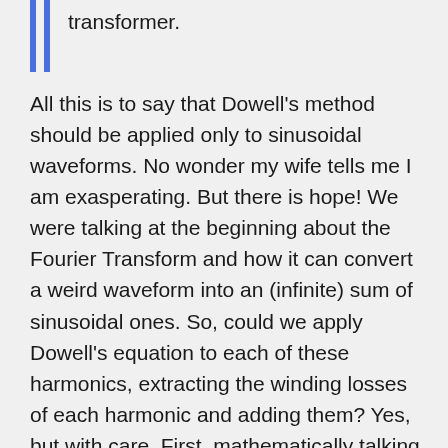transformer.
All this is to say that Dowell's method should be applied only to sinusoidal waveforms. No wonder my wife tells me I am exasperating. But there is hope! We were talking at the beginning about the Fourier Transform and how it can convert a weird waveform into an (infinite) sum of sinusoidal ones. So, could we apply Dowell's equation to each of these harmonics, extracting the winding losses of each harmonic and adding them? Yes, but with care. First, mathematically talking, in a Fourier Transform there are infinite terms, but we engineers cannot add infinite losses. Usually, this is solved by neglecting any harmonic with a power smaller than a threshold we find